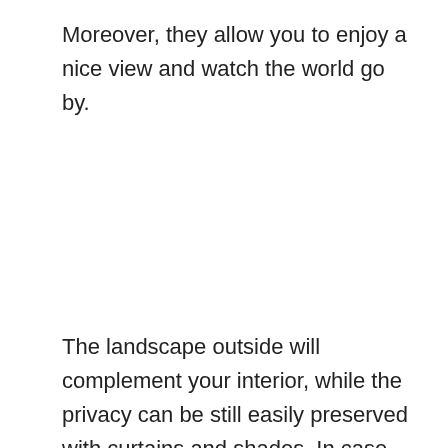Moreover, they allow you to enjoy a nice view and watch the world go by.
The landscape outside will complement your interior, while the privacy can be still easily preserved with curtains and shades. In case you